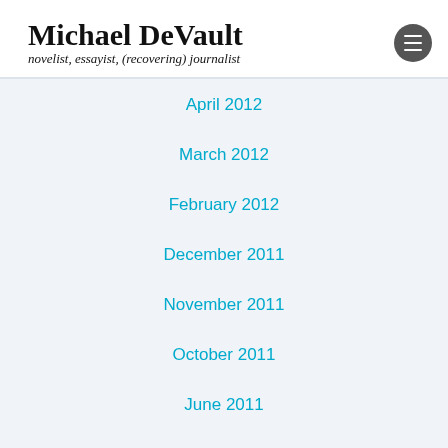Michael DeVault
novelist, essayist, (recovering) journalist
April 2012
March 2012
February 2012
December 2011
November 2011
October 2011
June 2011
April 2011
February 2011